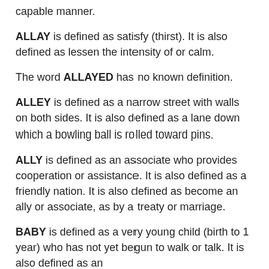capable manner.
ALLAY is defined as satisfy (thirst). It is also defined as lessen the intensity of or calm.
The word ALLAYED has no known definition.
ALLEY is defined as a narrow street with walls on both sides. It is also defined as a lane down which a bowling ball is rolled toward pins.
ALLY is defined as an associate who provides cooperation or assistance. It is also defined as a friendly nation. It is also defined as become an ally or associate, as by a treaty or marriage.
BABY is defined as a very young child (birth to 1 year) who has not yet begun to walk or talk. It is also defined as an